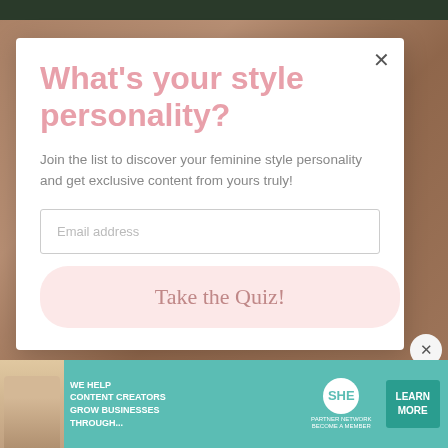[Figure (screenshot): Website popup modal with style quiz prompt on a lifestyle blog page]
What's your style personality?
Join the list to discover your feminine style personality and get exclusive content from yours truly!
Email address
Take the Quiz!
[Figure (infographic): SHE Media Partner Network advertisement banner with teal background, woman with laptop, and Learn More button]